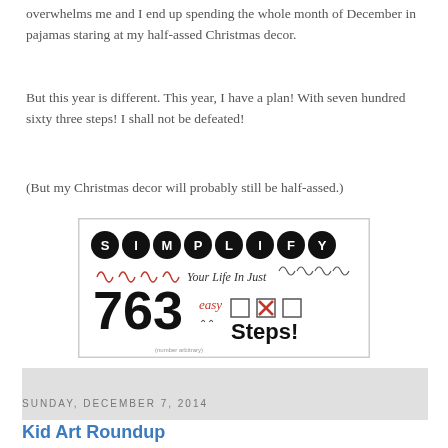overwhelms me and I end up spending the whole month of December in pajamas staring at my half-assed Christmas decor.
But this year is different. This year, I have a plan! With seven hundred sixty three steps! I shall not be defeated!
(But my Christmas decor will probably still be half-assed.)
[Figure (illustration): A decorative image with typewriter-style letter buttons spelling SIMPLIFY, decorative loops, and large bold text reading '763 easy Steps!' with checkboxes one of which is crossed out in red.]
[Figure (other): Light gray rectangular banner/advertisement area]
Sunday, December 7, 2014
Kid Art Roundup